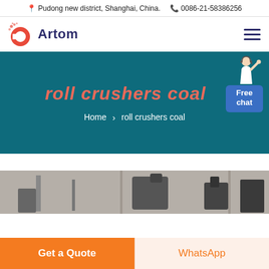📍 Pudong new district, Shanghai, China.  📞 0086-21-58386256
[Figure (logo): Artom company logo with red circular C icon and dark blue 'Artom' text]
roll crushers coal
Home > roll crushers coal
[Figure (photo): Partial photo of industrial machinery/equipment (roll crushers)]
Get a Quote
WhatsApp